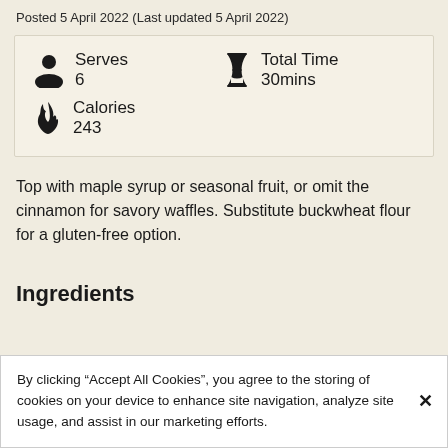Posted 5 April 2022 (Last updated 5 April 2022)
| Stat | Value |
| --- | --- |
| Serves | 6 |
| Total Time | 30mins |
| Calories | 243 |
Top with maple syrup or seasonal fruit, or omit the cinnamon for savory waffles. Substitute buckwheat flour for a gluten-free option.
Ingredients
By clicking “Accept All Cookies”, you agree to the storing of cookies on your device to enhance site navigation, analyze site usage, and assist in our marketing efforts.